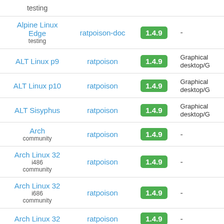| Distribution | Package | Version | Category |
| --- | --- | --- | --- |
| Alpine Linux Edge
testing | ratpoison-doc | 1.4.9 | - |
| ALT Linux p9 | ratpoison | 1.4.9 | Graphical desktop/0 |
| ALT Linux p10 | ratpoison | 1.4.9 | Graphical desktop/0 |
| ALT Sisyphus | ratpoison | 1.4.9 | Graphical desktop/0 |
| Arch
community | ratpoison | 1.4.9 | - |
| Arch Linux 32
i486
community | ratpoison | 1.4.9 | - |
| Arch Linux 32
i686
community | ratpoison | 1.4.9 | - |
| Arch Linux 32 | ratpoison | 1.4.9 | - |